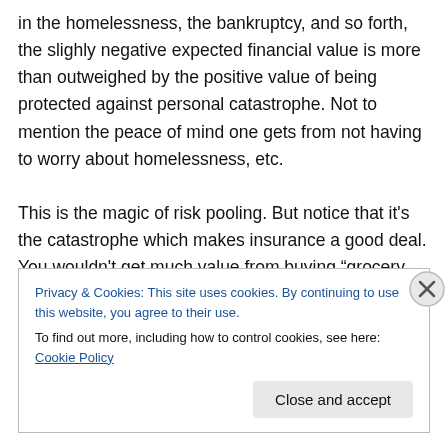in the homelessness, the bankruptcy, and so forth, the slighly negative expected financial value is more than outweighed by the positive value of being protected against personal catastrophe. Not to mention the peace of mind one gets from not having to worry about homelessness, etc.

This is the magic of risk pooling. But notice that it's the catastrophe which makes insurance a good deal. You wouldn't get much value from buying “grocery insurance”. At best, you'd be paying an extra administrative fee to
Privacy & Cookies: This site uses cookies. By continuing to use this website, you agree to their use.
To find out more, including how to control cookies, see here: Cookie Policy